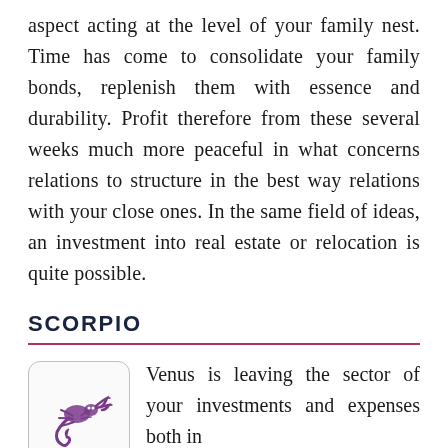aspect acting at the level of your family nest. Time has come to consolidate your family bonds, replenish them with essence and durability. Profit therefore from these several weeks much more peaceful in what concerns relations to structure in the best way relations with your close ones. In the same field of ideas, an investment into real estate or relocation is quite possible.
SCORPIO
Venus is leaving the sector of your investments and expenses both in finance and love; it will now occupy the sector of your close neighbourhood. For